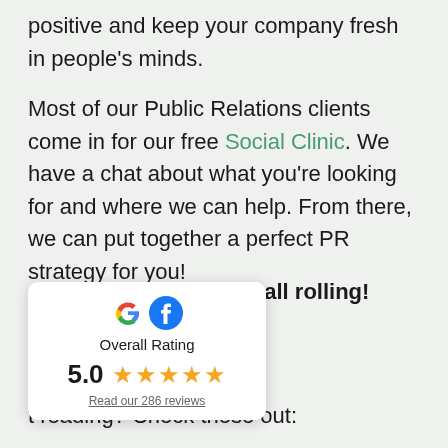positive and keep your company fresh in people's minds.
Most of our Public Relations clients come in for our free Social Clinic. We have a chat about what you're looking for and where we can help. From there, we can put together a perfect PR strategy for you!
[partial text obscured] we'll get the ball rolling!
[Figure (infographic): Rating card widget showing Google and Facebook icons, Overall Rating label, score of 5.0 with five gold stars, and a link to read 286 reviews.]
t reading? Check these out: